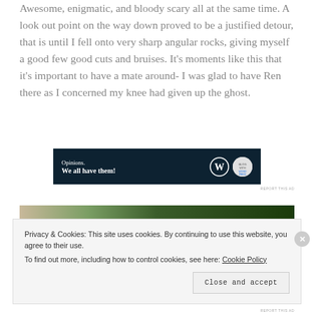Awesome, enigmatic, and bloody scary all at the same time. A look out point on the way down proved to be a justified detour, that is until I fell onto very sharp angular rocks, giving myself a good few good cuts and bruises. It's moments like this that it's important to have a mate around- I was glad to have Ren there as I concerned my knee had given up the ghost.
[Figure (other): Advertisement banner with dark navy background reading 'Opinions. We all have them!' with WordPress and blog logos on the right side.]
[Figure (photo): Partial photograph showing a landscape with trees and foliage, partially obscured by cookie banner overlay.]
Privacy & Cookies: This site uses cookies. By continuing to use this website, you agree to their use.
To find out more, including how to control cookies, see here: Cookie Policy
Close and accept